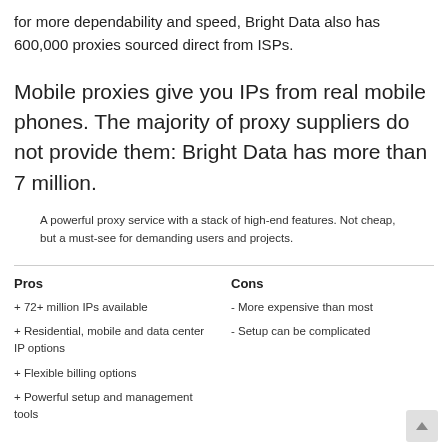for more dependability and speed, Bright Data also has 600,000 proxies sourced direct from ISPs.
Mobile proxies give you IPs from real mobile phones. The majority of proxy suppliers do not provide them: Bright Data has more than 7 million.
A powerful proxy service with a stack of high-end features. Not cheap, but a must-see for demanding users and projects.
Pros
+ 72+ million IPs available
+ Residential, mobile and data center IP options
+ Flexible billing options
+ Powerful setup and management tools
Cons
- More expensive than most
- Setup can be complicated